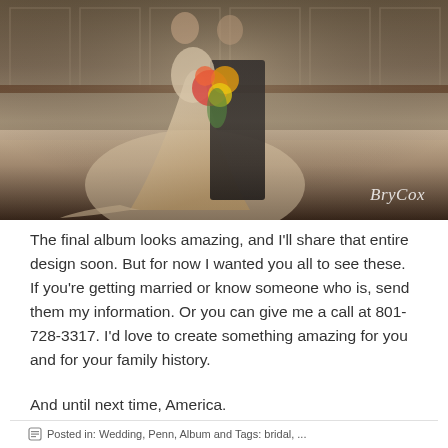[Figure (photo): Wedding photo of a bride in a lace gown with a long train holding a colorful bouquet, standing with a groom in a dark suit, photographed in an ornate indoor venue. Watermark 'BryCox' in bottom right corner.]
The final album looks amazing, and I'll share that entire design soon. But for now I wanted you all to see these. If you're getting married or know someone who is, send them my information. Or you can give me a call at 801-728-3317. I'd love to create something amazing for you and for your family history.
And until next time, America.
Posted in: Wedding, Penn, Album and Tags: bridal, ...